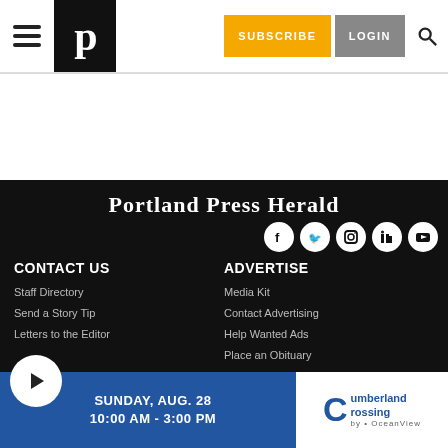Portland Press Herald navigation bar with hamburger menu, P logo, SUBSCRIBE and LOGIN buttons, and search icon
[Figure (screenshot): Portland Press Herald website footer on black background with newspaper logo in blackletter font, social media icons (Facebook, Twitter, Instagram, LinkedIn, YouTube), two columns of links: CONTACT US (Staff Directory, Send a Story Tip, Letters to the Editor) and ADVERTISE (Media Kit, Contact Advertising, Help Wanted Ads, Place an Obituary)]
[Figure (infographic): Advertisement bar: SUNDAY, AUG. 28 / 10:00 AM - 3:00 PM with Cumberland Crossing by OceanView logo]